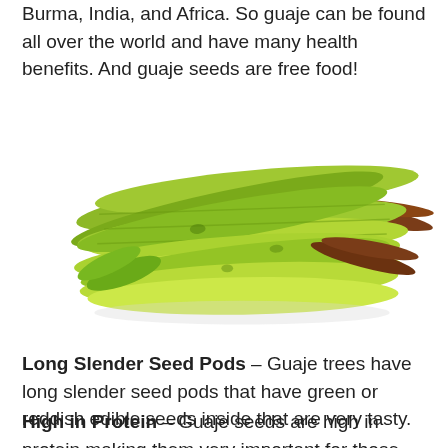Burma, India, and Africa. So guaje can be found all over the world and have many health benefits. And guaje seeds are free food!
[Figure (photo): A pile of long slender green guaje seed pods bundled together on a white background]
Long Slender Seed Pods – Guaje trees have long slender seed pods that have green or reddish edible seeds inside that are very tasty.
High in Protein – Guaje seeds are high in protein making them very important for those who want a little more